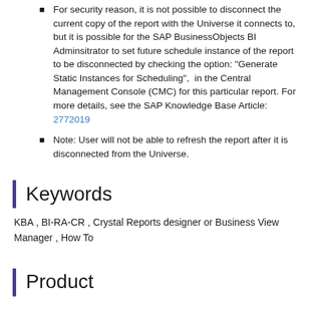For security reason, it is not possible to disconnect the current copy of the report with the Universe it connects to, but it is possible for the SAP BusinessObjects BI Adminsitrator to set future schedule instance of the report to be disconnected by checking the option: "Generate Static Instances for Scheduling",  in the Central Management Console (CMC) for this particular report. For more details, see the SAP Knowledge Base Article: 2772019
Note: User will not be able to refresh the report after it is disconnected from the Universe.
Keywords
KBA , BI-RA-CR , Crystal Reports designer or Business View Manager , How To
Product